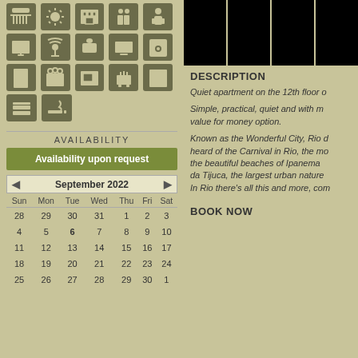[Figure (infographic): Grid of amenity icons (weather/sun, hotel amenities, TV, satellite, router, solar panel, washer, refrigerator, oven, microwave, toaster, towels/linens, smoking)]
AVAILABILITY
Availability upon request
| Sun | Mon | Tue | Wed | Thu | Fri | Sat |
| --- | --- | --- | --- | --- | --- | --- |
| 28 | 29 | 30 | 31 | 1 | 2 | 3 |
| 4 | 5 | 6 | 7 | 8 | 9 | 10 |
| 11 | 12 | 13 | 14 | 15 | 16 | 17 |
| 18 | 19 | 20 | 21 | 22 | 23 | 24 |
| 25 | 26 | 27 | 28 | 29 | 30 | 1 |
[Figure (photo): Four black photo panels side by side]
DESCRIPTION
Quiet apartment on the 12th floor o
Simple, practical, quiet and with m value for money option.
Known as the Wonderful City, Rio d heard of the Carnival in Rio, the mo the beautiful beaches of Ipanema da Tijuca, the largest urban nature In Rio there's all this and more, com
BOOK NOW